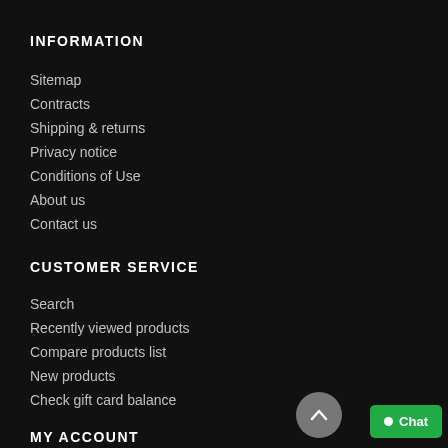INFORMATION
Sitemap
Contracts
Shipping & returns
Privacy notice
Conditions of Use
About us
Contact us
CUSTOMER SERVICE
Search
Recently viewed products
Compare products list
New products
Check gift card balance
MY ACCOUNT
My account
Orders
Addresses